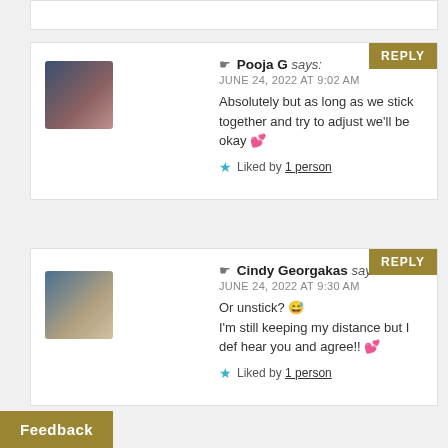Pooja G says: JUNE 24, 2022 AT 9:02 AM
Absolutely but as long as we stick together and try to adjust we'll be okay 💕
Liked by 1 person
Cindy Georgakas says: JUNE 24, 2022 AT 9:30 AM
Or unstick? 😅
I'm still keeping my distance but I def hear you and agree!! 💕
Liked by 1 person